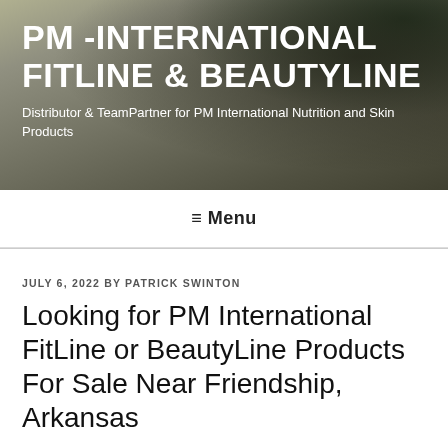[Figure (photo): Website header banner with dark overlay showing plants/greenery in background]
PM -INTERNATIONAL FITLINE & BEAUTYLINE
Distributor & TeamPartner for PM International Nutrition and Skin Products
≡ Menu
JULY 6, 2022 BY PATRICK SWINTON
Looking for PM International FitLine or BeautyLine Products For Sale Near Friendship, Arkansas
Experience smoother and more balanced skin as well
as firmer contours with the new CC-Cel-Plus Lotion